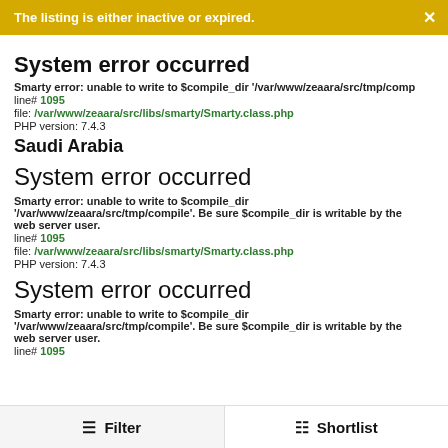The listing is either inactive or expired.
System error occurred
Smarty error: unable to write to $compile_dir '/var/www/zeaara/src/tmp/comp…
line# 1095
file: /var/www/zeaara/src/libs/smarty/Smarty.class.php
PHP version: 7.4.3
Saudi Arabia
System error occurred
Smarty error: unable to write to $compile_dir '/var/www/zeaara/src/tmp/compile'. Be sure $compile_dir is writable by the web server user.
line# 1095
file: /var/www/zeaara/src/libs/smarty/Smarty.class.php
PHP version: 7.4.3
System error occurred
Smarty error: unable to write to $compile_dir '/var/www/zeaara/src/tmp/compile'. Be sure $compile_dir is writable by the web server user.
line# 1095
Filter   Shortlist